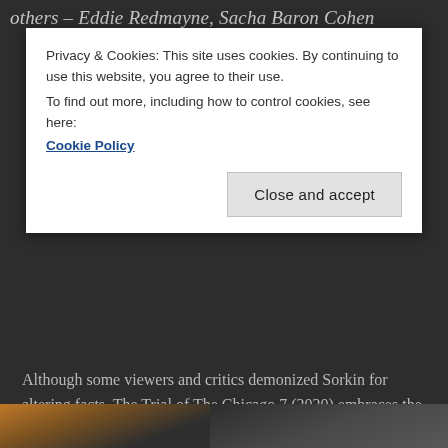others – Eddie Redmayne, Sacha Baron Cohen
Privacy & Cookies: This site uses cookies. By continuing to use this website, you agree to their use.
To find out more, including how to control cookies, see here:
Cookie Policy
Close and accept
Although some viewers and critics demonized Sorkin for altering facts, The Trial of The Chicago 7 (2020) embraces the dramatized events and through that lens seems to peek at the contemporary America (not only the U.S. though). Much more than depicting history as it was, this film challenges us to think how much of that story repeats itself today in the form of all the protests, social instability and injustice.
[Figure (photo): Partial view of two people in a movie still, left side showing warm orange/brown tones, right side showing a person against a blurred background]